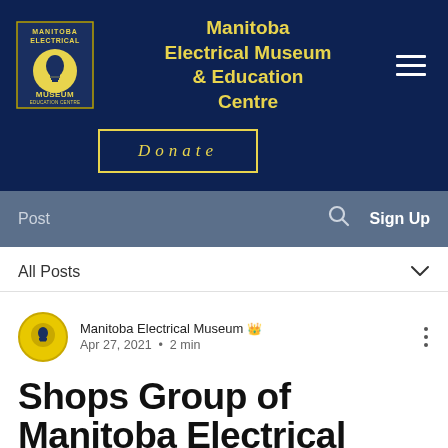[Figure (logo): Manitoba Electrical Museum logo — circular yellow badge with lightbulb and text reading MANITOBA ELECTRICAL MUSEUM EDUCATION CENTRE]
Manitoba Electrical Museum & Education Centre
Donate
Post
Sign Up
All Posts
Manitoba Electrical Museum  Apr 27, 2021 · 2 min
Shops Group of Manitoba Electrical Museum & Education